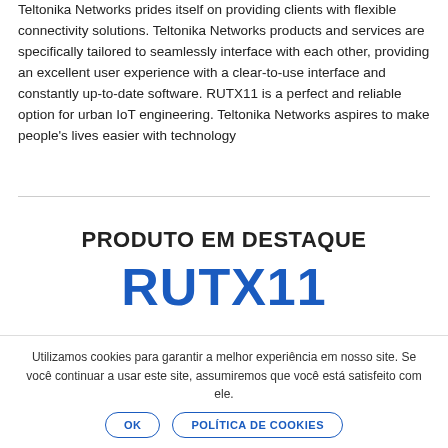Teltonika Networks prides itself on providing clients with flexible connectivity solutions. Teltonika Networks products and services are specifically tailored to seamlessly interface with each other, providing an excellent user experience with a clear-to-use interface and constantly up-to-date software. RUTX11 is a perfect and reliable option for urban IoT engineering. Teltonika Networks aspires to make people's lives easier with technology
PRODUTO EM DESTAQUE
RUTX11
Utilizamos cookies para garantir a melhor experiência em nosso site. Se você continuar a usar este site, assumiremos que você está satisfeito com ele.
OK | POLÍTICA DE COOKIES